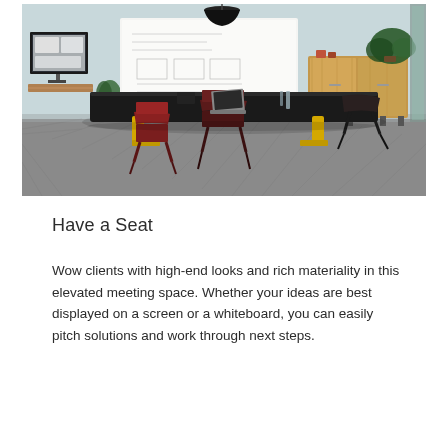[Figure (photo): A modern conference/meeting room with a large dark rectangular table, red and dark chairs, yellow table legs, a whiteboard on the back wall, a wall-mounted display on the left, wooden cabinet on the right, plants, and light blue walls with herringbone floor.]
Have a Seat
Wow clients with high-end looks and rich materiality in this elevated meeting space. Whether your ideas are best displayed on a screen or a whiteboard, you can easily pitch solutions and work through next steps.